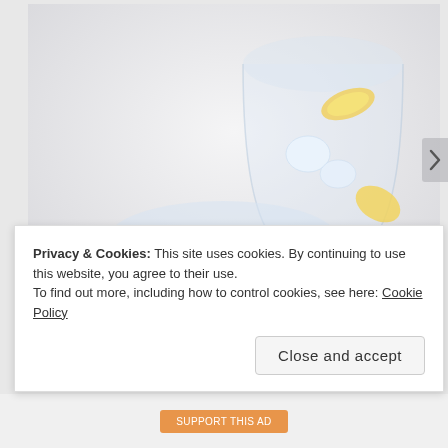[Figure (photo): Two crystal glasses filled with clear sparkling water or cocktail, garnished with lemon and lime slices and ice cubes, on a white background.]
Privacy & Cookies: This site uses cookies. By continuing to use this website, you agree to their use.
To find out more, including how to control cookies, see here: Cookie Policy
Close and accept